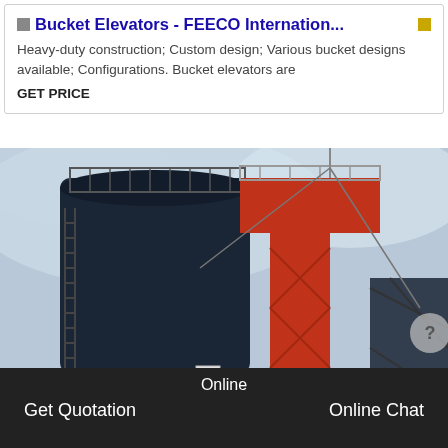Bucket Elevators - FEECO Internation...
Heavy-duty construction; Custom design; Various bucket designs available; Configurations. Bucket elevators are
GET PRICE
[Figure (photo): Photograph looking up at a large dark cylindrical silo and a red bucket elevator tower structure against an overcast sky]
Online   Get Quotation   Online Chat